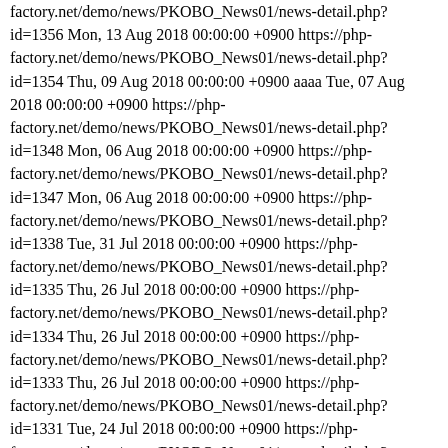factory.net/demo/news/PKOBO_News01/news-detail.php?id=1356 Mon, 13 Aug 2018 00:00:00 +0900 https://php-factory.net/demo/news/PKOBO_News01/news-detail.php?id=1354 Thu, 09 Aug 2018 00:00:00 +0900 aaaa Tue, 07 Aug 2018 00:00:00 +0900 https://php-factory.net/demo/news/PKOBO_News01/news-detail.php?id=1348 Mon, 06 Aug 2018 00:00:00 +0900 https://php-factory.net/demo/news/PKOBO_News01/news-detail.php?id=1347 Mon, 06 Aug 2018 00:00:00 +0900 https://php-factory.net/demo/news/PKOBO_News01/news-detail.php?id=1338 Tue, 31 Jul 2018 00:00:00 +0900 https://php-factory.net/demo/news/PKOBO_News01/news-detail.php?id=1335 Thu, 26 Jul 2018 00:00:00 +0900 https://php-factory.net/demo/news/PKOBO_News01/news-detail.php?id=1334 Thu, 26 Jul 2018 00:00:00 +0900 https://php-factory.net/demo/news/PKOBO_News01/news-detail.php?id=1333 Thu, 26 Jul 2018 00:00:00 +0900 https://php-factory.net/demo/news/PKOBO_News01/news-detail.php?id=1331 Tue, 24 Jul 2018 00:00:00 +0900 https://php-factory.net/demo/news/PKOBO_News01/news-detail.php?id=1330 Tue, 24 Jul 2018 00:00:00 +0900 https://php-factory.net/demo/news/PKOBO_News01/news-detail.php?id=1329 Mon, 23 Jul 2018 00:00:00 +0900 https://php-factory.net/demo/news/PKOBO_News01/news-detail.php?id=1328 Sun, 22 Jul 2018 00:00:00 +0900 https://php-